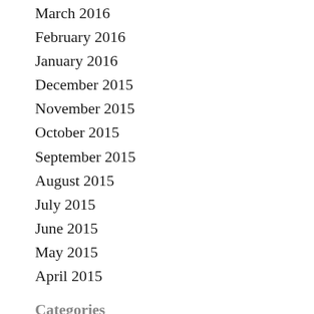March 2016
February 2016
January 2016
December 2015
November 2015
October 2015
September 2015
August 2015
July 2015
June 2015
May 2015
April 2015
Categories
#EnterpriseApplications
#Financial Planning & Analysis
#NoSQL
#...